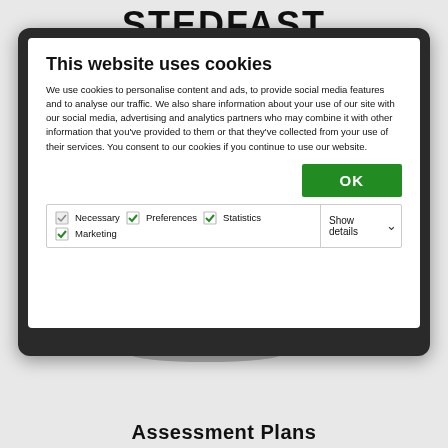STEDFAST
[Figure (screenshot): A computer monitor displaying a cookie consent popup on a white screen. The popup has a bold heading 'This website uses cookies', body text about cookie usage, a green OK button, and a row of checkboxes for Necessary, Preferences, Statistics, and Marketing, plus a 'Show details' dropdown.]
This website uses cookies
We use cookies to personalise content and ads, to provide social media features and to analyse our traffic. We also share information about your use of our site with our social media, advertising and analytics partners who may combine it with other information that you've provided to them or that they've collected from your use of their services. You consent to our cookies if you continue to use our website.
OK
Necessary   Preferences   Statistics   Marketing   Show details
Assessment Plans